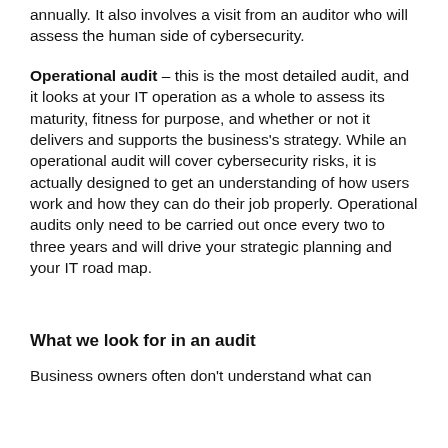annually. It also involves a visit from an auditor who will assess the human side of cybersecurity.
Operational audit – this is the most detailed audit, and it looks at your IT operation as a whole to assess its maturity, fitness for purpose, and whether or not it delivers and supports the business's strategy. While an operational audit will cover cybersecurity risks, it is actually designed to get an understanding of how users work and how they can do their job properly. Operational audits only need to be carried out once every two to three years and will drive your strategic planning and your IT road map.
What we look for in an audit
Business owners often don't understand what can